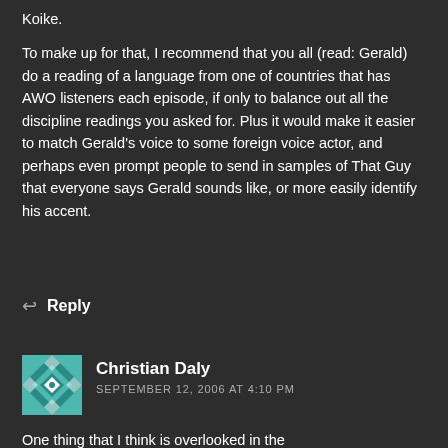Koike.
To make up for that, I recommend that you all (read: Gerald) do a reading of a language from one of countries that has AWO listeners each episode, if only to balance out all the discipline readings you asked for. Plus it would make it easier to match Gerald's voice to some foreign voice actor, and perhaps even prompt people to send in samples of That Guy that everyone says Gerald sounds like, or more easily identify his accent.
Reply
Christian Daly
SEPTEMBER 12, 2006 AT 4:10 PM
One thing that I think is overlooked in the